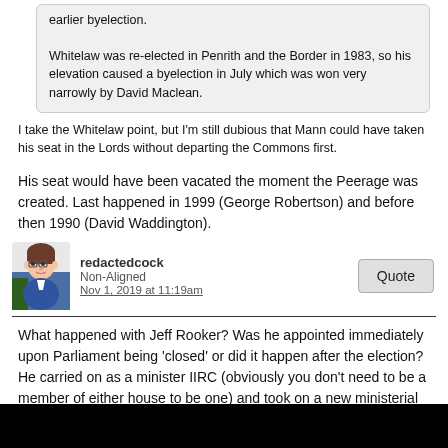earlier byelection.

Whitelaw was re-elected in Penrith and the Border in 1983, so his elevation caused a byelection in July which was won very narrowly by David Maclean.
I take the Whitelaw point, but I'm still dubious that Mann could have taken his seat in the Lords without departing the Commons first.
His seat would have been vacated the moment the Peerage was created. Last happened in 1999 (George Robertson) and before then 1990 (David Waddington).
redactedcock
Non-Aligned
Nov 1, 2019 at 11:19am
What happened with Jeff Rooker? Was he appointed immediately upon Parliament being 'closed' or did it happen after the election? He carried on as a minister IIRC (obviously you don't need to be a member of either house to be one) and took on a new ministerial job post election.